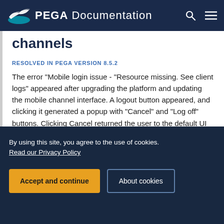PEGA Documentation
channels
RESOLVED IN PEGA VERSION 8.5.2
The error "Mobile login issue - "Resource missing. See client logs" appeared after upgrading the platform and updating the mobile channel interface. A logout button appeared, and clicking it generated a popup with "Cancel" and "Log off" buttons. Clicking Cancel returned the user to the default UI in the mobile screen. This
READY TO CRUSH COMPLEXITY?
By using this site, you agree to the use of cookies.
Read our Privacy Policy
Accept and continue
About cookies